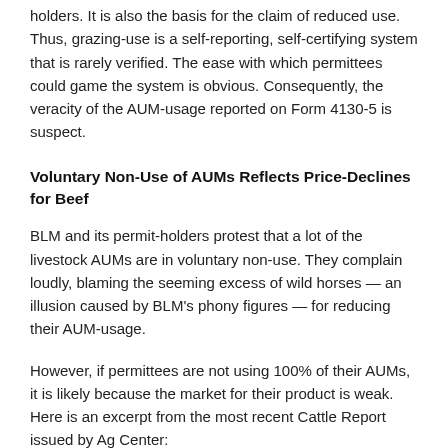holders. It is also the basis for the claim of reduced use. Thus, grazing-use is a self-reporting, self-certifying system that is rarely verified. The ease with which permittees could game the system is obvious. Consequently, the veracity of the AUM-usage reported on Form 4130-5 is suspect.
Voluntary Non-Use of AUMs Reflects Price-Declines for Beef
BLM and its permit-holders protest that a lot of the livestock AUMs are in voluntary non-use. They complain loudly, blaming the seeming excess of wild horses — an illusion caused by BLM's phony figures — for reducing their AUM-usage.
However, if permittees are not using 100% of their AUMs, it is likely because the market for their product is weak. Here is an excerpt from the most recent Cattle Report issued by Ag Center: